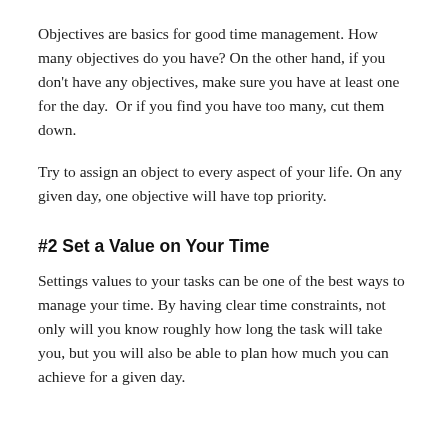Objectives are basics for good time management. How many objectives do you have? On the other hand, if you don't have any objectives, make sure you have at least one for the day.  Or if you find you have too many, cut them down.
Try to assign an object to every aspect of your life. On any given day, one objective will have top priority.
#2 Set a Value on Your Time
Settings values to your tasks can be one of the best ways to manage your time. By having clear time constraints, not only will you know roughly how long the task will take you, but you will also be able to plan how much you can achieve for a given day.